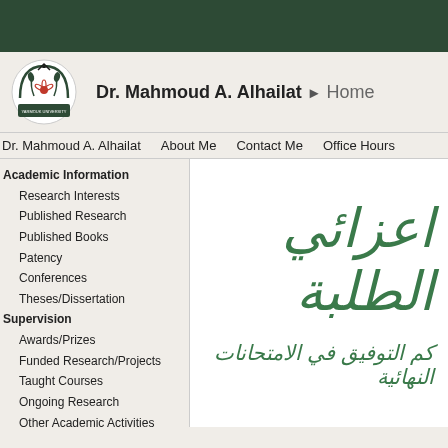[Figure (logo): Yarmouk University circular logo with Arabic text and emblems]
Dr. Mahmoud A. Alhailat ▶ Home
Dr. Mahmoud A. Alhailat
About Me
Contact Me
Office Hours
Academic Information
Research Interests
Published Research
Published Books
Patency
Conferences
Theses/Dissertation
Supervision
Awards/Prizes
Funded Research/Projects
Taught Courses
Ongoing Research
Other Academic Activities
Main Menu
News
Announcements
Calendar
Useful Links
Gallery
اعزائي الطلبة
كم التوفيق في الامتحانات النهائية